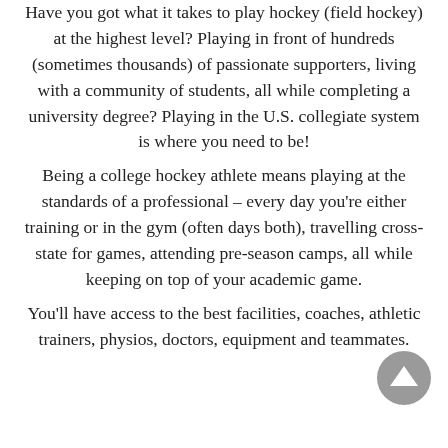Have you got what it takes to play hockey (field hockey) at the highest level? Playing in front of hundreds (sometimes thousands) of passionate supporters, living with a community of students, all while completing a university degree? Playing in the U.S. collegiate system is where you need to be!
Being a college hockey athlete means playing at the standards of a professional – every day you're either training or in the gym (often days both), travelling cross-state for games, attending pre-season camps, all while keeping on top of your academic game.
You'll have access to the best facilities, coaches, athletic trainers, physios, doctors, equipment and teammates.